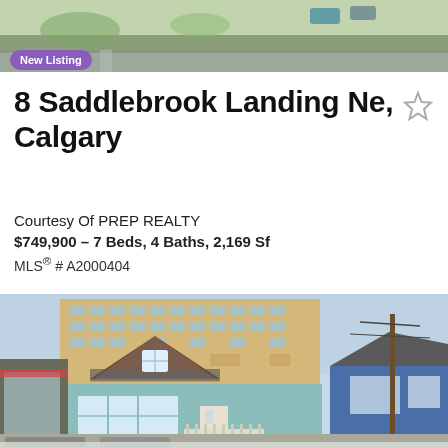[Figure (photo): Aerial/street view photo of the property neighborhood, showing road and green area]
New Listing
8 Saddlebrook Landing Ne, Calgary
Courtesy Of PREP REALTY
$749,900 – 7 Beds, 4 Baths, 2,169 Sf
MLS® # A2000404
[Figure (photo): Street-level photo of a two-storey house with brown wooden upper gable, light blue lower siding, and a large multi-storey apartment building in the background. Adjacent blue house visible to the right.]